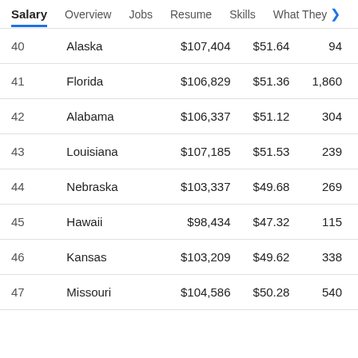Salary | Overview | Jobs | Resume | Skills | What They
|  | State | Annual Salary | Hourly Wage | Jobs |
| --- | --- | --- | --- | --- |
| 40 | Alaska | $107,404 | $51.64 | 94 |
| 41 | Florida | $106,829 | $51.36 | 1,860 |
| 42 | Alabama | $106,337 | $51.12 | 304 |
| 43 | Louisiana | $107,185 | $51.53 | 239 |
| 44 | Nebraska | $103,337 | $49.68 | 269 |
| 45 | Hawaii | $98,434 | $47.32 | 115 |
| 46 | Kansas | $103,209 | $49.62 | 338 |
| 47 | Missouri | $104,586 | $50.28 | 540 |